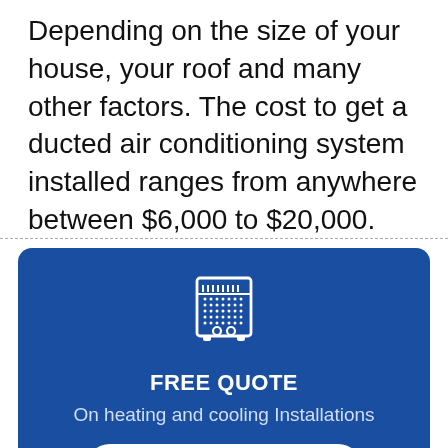Depending on the size of your house, your roof and many other factors. The cost to get a ducted air conditioning system installed ranges from anywhere between $6,000 to $20,000.
[Figure (illustration): Blue promotional banner with an air conditioning unit icon, bold white text 'FREE QUOTE', subtext 'On heating and cooling Installations', and a white rounded button labeled 'REQUEST A QUOTE']